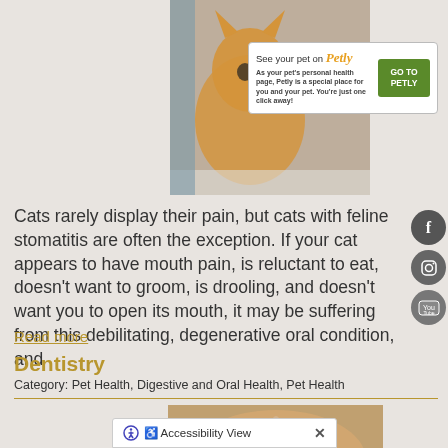[Figure (photo): Orange cat sitting on a surface, upper left portion visible]
[Figure (infographic): Petly promotional box: 'See your pet on Petly - As your pet's personal health page, Petly is a special place for you and your pet. You're just one click away!' with green GO TO PETLY button]
[Figure (illustration): Social media icons: Facebook, Instagram, YouTube circular icons on right side]
Cats rarely display their pain, but cats with feline stomatitis are often the exception. If your cat appears to have mouth pain, is reluctant to eat, doesn't want to groom, is drooling, and doesn't want you to open its mouth, it may be suffering from this debilitating, degenerative oral condition, and
Read more
Dentistry
Category: Pet Health, Digestive and Oral Health, Pet Health
[Figure (photo): Hands examining or handling a dog's paw/tooth]
Accessibility View  ×